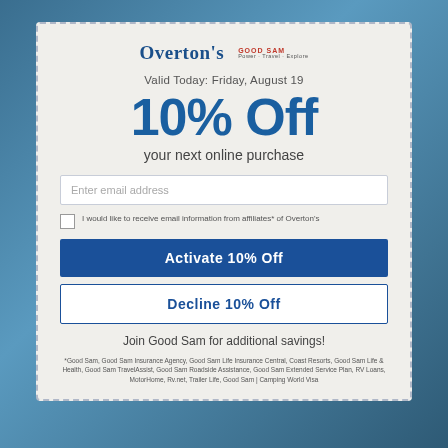[Figure (logo): Overton's logo and Good Sam logo side by side]
Valid Today: Friday, August 19
10% Off
your next online purchase
Enter email address
I would like to receive email information from affiliates* of Overton's
Activate 10% Off
Decline 10% Off
Join Good Sam for additional savings!
*Good Sam, Good Sam Insurance Agency, Good Sam Life Insurance Central, Coast Resorts, Good Sam Life & Health, Good Sam TravelAssist, Good Sam Roadside Assistance, Good Sam Extended Service Plan, RV Loans, MotorHome, Rv.net, Trailer Life, Good Sam | Camping World Visa